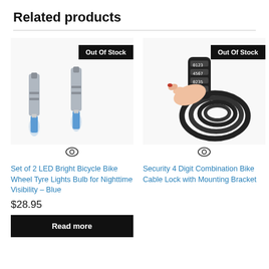Related products
[Figure (photo): Two LED bicycle valve stem lights in blue, with metal connectors, shown against white background. 'Out Of Stock' badge overlay.]
[Figure (photo): Hand holding a black 4-digit combination bike cable lock coiled, with number dials visible. 'Out Of Stock' badge overlay.]
Set of 2 LED Bright Bicycle Bike Wheel Tyre Lights Bulb for Nighttime Visibility – Blue
$28.95
Read more
Security 4 Digit Combination Bike Cable Lock with Mounting Bracket